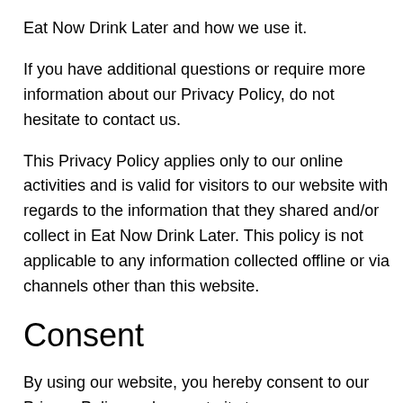Eat Now Drink Later and how we use it.
If you have additional questions or require more information about our Privacy Policy, do not hesitate to contact us.
This Privacy Policy applies only to our online activities and is valid for visitors to our website with regards to the information that they shared and/or collect in Eat Now Drink Later. This policy is not applicable to any information collected offline or via channels other than this website.
Consent
By using our website, you hereby consent to our Privacy Policy and agree to its terms.